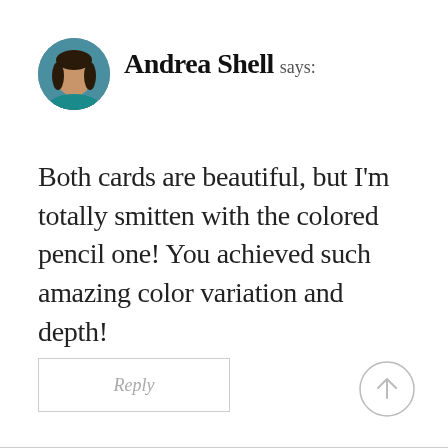[Figure (photo): Circular avatar photo of Andrea Shell, a woman with dark hair]
Andrea Shell says:
Both cards are beautiful, but I'm totally smitten with the colored pencil one! You achieved such amazing color variation and depth!
Reply